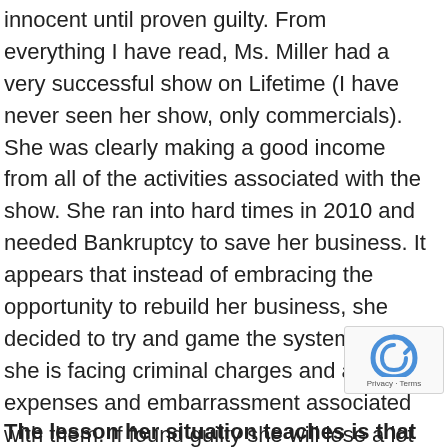innocent until proven guilty. From everything I have read, Ms. Miller had a very successful show on Lifetime (I have never seen her show, only commercials). She was clearly making a good income from all of the activities associated with the show. She ran into hard times in 2010 and needed Bankruptcy to save her business. It appears that instead of embracing the opportunity to rebuild her business, she decided to try and game the system.  Now she is facing criminal charges and all of the expenses and embarrassment associated with them. If found guilty she will lose a lot more than she is accused of concealing.  It will be interesting to see if her show survives.
The lesson her situation teaches is that